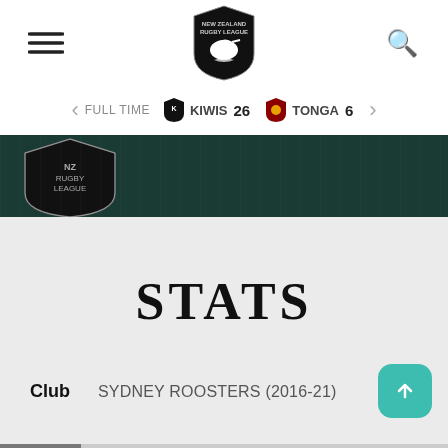New Zealand Rugby League
FULL TIME   KIWIS 26   TONGA 6
[Figure (screenshot): Dark green banner with New Zealand Kiwis logo on the left]
STATS
Club   SYDNEY ROOSTERS (2016-21)